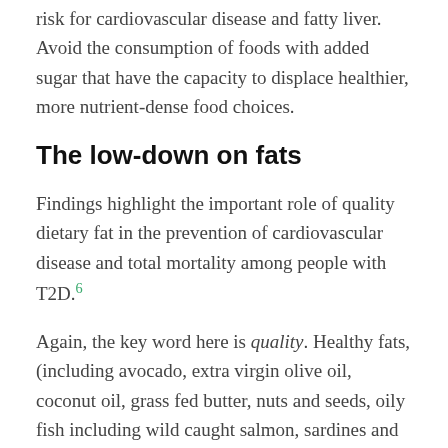risk for cardiovascular disease and fatty liver. Avoid the consumption of foods with added sugar that have the capacity to displace healthier, more nutrient-dense food choices.
The low-down on fats
Findings highlight the important role of quality dietary fat in the prevention of cardiovascular disease and total mortality among people with T2D.6
Again, the key word here is quality. Healthy fats, (including avocado, extra virgin olive oil, coconut oil, grass fed butter, nuts and seeds, oily fish including wild caught salmon, sardines and mackerel), are essential